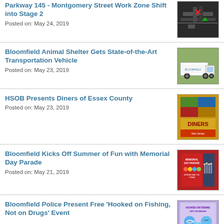Parkway 145 - Montgomery Street Work Zone Shift into Stage 2
Posted on: May 24, 2019
[Figure (photo): Aerial view of road intersection/work zone]
Bloomfield Animal Shelter Gets State-of-the-Art Transportation Vehicle
Posted on: May 23, 2019
[Figure (photo): Animal shelter transportation vehicle truck]
HSOB Presents Diners of Essex County
Posted on: May 23, 2019
[Figure (photo): Book cover: Diners of New Jersey]
Bloomfield Kicks Off Summer of Fun with Memorial Day Parade
Posted on: May 21, 2019
[Figure (photo): Memorial Day Parade promotional image and parade photo]
Bloomfield Police Present Free 'Hooked on Fishing, Not on Drugs' Event
[Figure (photo): Hooked on Fishing Not on Drugs flyer]